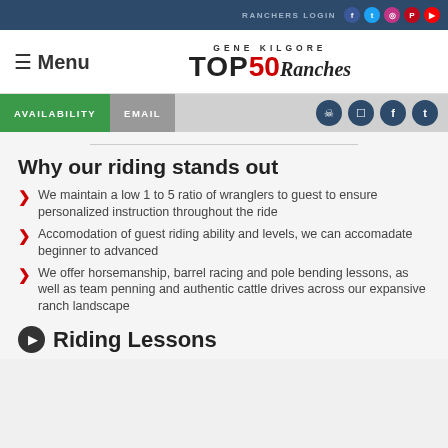RANCHERS LOGIN
[Figure (screenshot): Gene Kilgore TOP50 Ranches logo with menu button]
AVAILABILITY  EMAIL
Why our riding stands out
We maintain a low 1 to 5 ratio of wranglers to guest to ensure personalized instruction throughout the ride
Accomodation of guest riding ability and levels, we can accomadate beginner to advanced
We offer horsemanship, barrel racing and pole bending lessons, as well as team penning and authentic cattle drives across our expansive ranch landscape
Riding Lessons